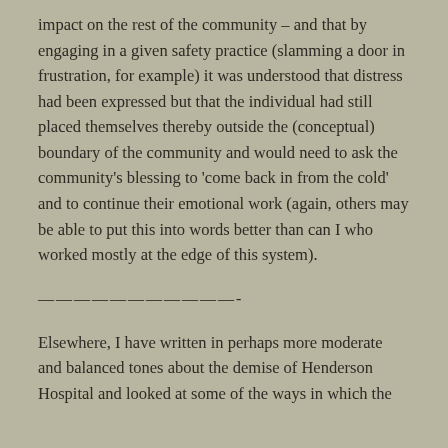impact on the rest of the community – and that by engaging in a given safety practice (slamming a door in frustration, for example) it was understood that distress had been expressed but that the individual had still placed themselves thereby outside the (conceptual) boundary of the community and would need to ask the community's blessing to 'come back in from the cold' and to continue their emotional work (again, others may be able to put this into words better than can I who worked mostly at the edge of this system).
———————————-
Elsewhere, I have written in perhaps more moderate and balanced tones about the demise of Henderson Hospital and looked at some of the ways in which the